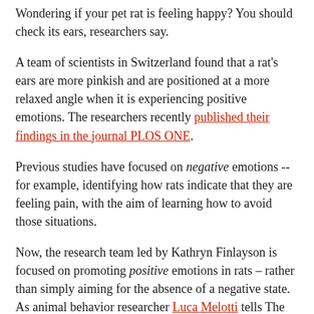Wondering if your pet rat is feeling happy? You should check its ears, researchers say.
A team of scientists in Switzerland found that a rat's ears are more pinkish and are positioned at a more relaxed angle when it is experiencing positive emotions. The researchers recently published their findings in the journal PLOS ONE.
Previous studies have focused on negative emotions -- for example, identifying how rats indicate that they are feeling pain, with the aim of learning how to avoid those situations.
Now, the research team led by Kathryn Finlayson is focused on promoting positive emotions in rats – rather than simply aiming for the absence of a negative state. As animal behavior researcher Luca Melotti tells The Two-Way, this is centered on the question of "what does it mean to have a life worth living?"